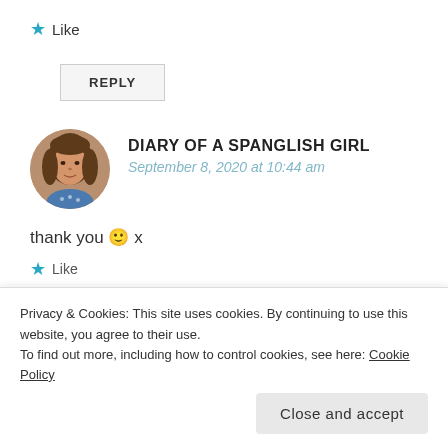★ Like
REPLY
[Figure (photo): Round avatar photo of a young woman with dark hair wearing a blue patterned top]
DIARY OF A SPANGLISH GIRL
September 8, 2020 at 10:44 am
thank you 🙂 x
★ Like
Privacy & Cookies: This site uses cookies. By continuing to use this website, you agree to their use.
To find out more, including how to control cookies, see here: Cookie Policy
Close and accept